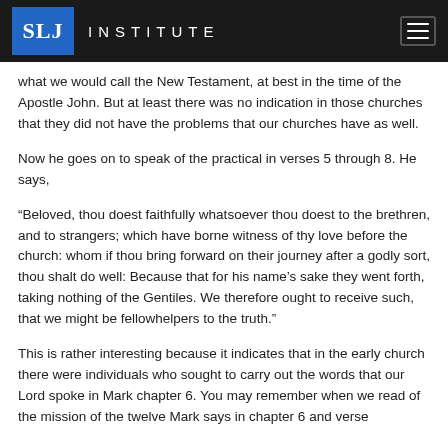SLJ INSTITUTE
what we would call the New Testament, at best in the time of the Apostle John. But at least there was no indication in those churches that they did not have the problems that our churches have as well.
Now he goes on to speak of the practical in verses 5 through 8. He says,
“Beloved, thou doest faithfully whatsoever thou doest to the brethren, and to strangers; which have borne witness of thy love before the church: whom if thou bring forward on their journey after a godly sort, thou shalt do well: Because that for his name’s sake they went forth, taking nothing of the Gentiles. We therefore ought to receive such, that we might be fellowhelpers to the truth.”
This is rather interesting because it indicates that in the early church there were individuals who sought to carry out the words that our Lord spoke in Mark chapter 6. You may remember when we read of the mission of the twelve Mark says in chapter 6 and verse